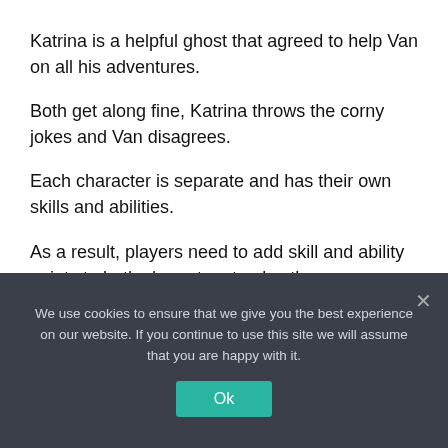Katrina is a helpful ghost that agreed to help Van on all his adventures.
Both get along fine, Katrina throws the corny jokes and Van disagrees.
Each character is separate and has their own skills and abilities.
As a result, players need to add skill and ability points to both characters to play the game.
We use cookies to ensure that we give you the best experience on our website. If you continue to use this site we will assume that you are happy with it.